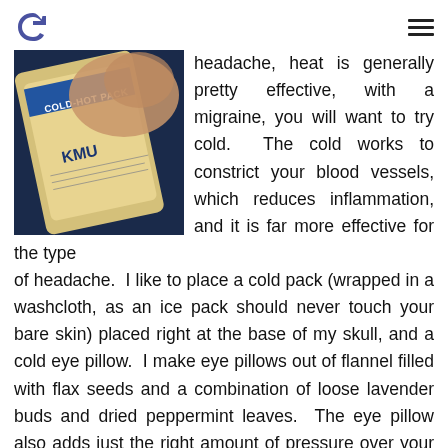Logo and navigation header
[Figure (photo): A cold-hot pack being held in a hand, showing a yellow and blue labeled ice/heat pack with text COLD-HOT PACK and KMU visible]
headache, heat is generally pretty effective, with a migraine, you will want to try cold. The cold works to constrict your blood vessels, which reduces inflammation, and it is far more effective for the type of headache. I like to place a cold pack (wrapped in a washcloth, as an ice pack should never touch your bare skin) placed right at the base of my skull, and a cold eye pillow. I make eye pillows out of flannel filled with flax seeds and a combination of loose lavender buds and dried peppermint leaves. The eye pillow also adds just the right amount of pressure over your eyes to help relieve the pain, especially if you tend to have pain in